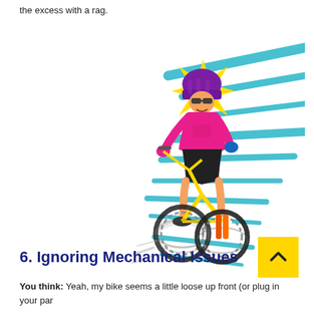the excess with a rag.
[Figure (illustration): Comic-style illustration of a mountain biker in a pink jersey and helmet riding fast downhill, with yellow starburst effect behind the rider's head and blue speed lines in the background, wheels blurred with motion lines.]
6. Ignoring Mechanical Issues
You think: Yeah, my bike seems a little loose up front (or plug in your par